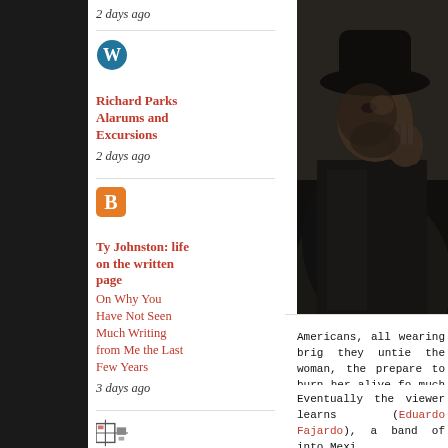2 days ago
[Figure (logo): WordPress logo icon (blue circular W)]
Richard Parks Alarums and Excursions
2 days ago
[Figure (logo): Blogger logo icon (orange square with B)]
Ty Johnston: life on the written page
On Why You Have Not Seen Much Writing from Me the Last Few Years
3 days ago
[Figure (logo): Small blog/feed icon]
Blog | Ken Lizzi
How Does Post-Apocalyptic Fiction Tie in to Sword and Sorcery? Plus
[Figure (photo): Dark western film scene — man with hat and coat, dimly lit, close-up]
Americans, all wearing brig they untie the woman, the prepare to burn her alive fo much for Django and he up in the mud, and this time, th (Loredana Nusciak), is freed.
Eventually the viewer learns (Eduardo Fajardo), a band of into Mexi